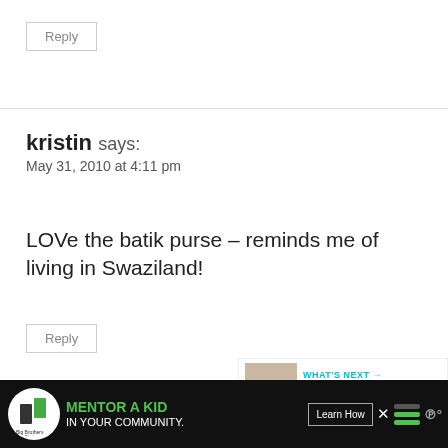Reply
kristin says:
May 31, 2010 at 4:11 pm
LOVe the batik purse – reminds me of living in Swaziland!
Reply
[Figure (screenshot): Share button icon (circle with share/plus symbol)]
[Figure (screenshot): What's Next panel: FREE SVG Cut Files for Cri...]
[Figure (infographic): Advertisement banner: Big Brothers Big Sisters - MENTOR A KID IN YOUR COMMUNITY. Learn How.]